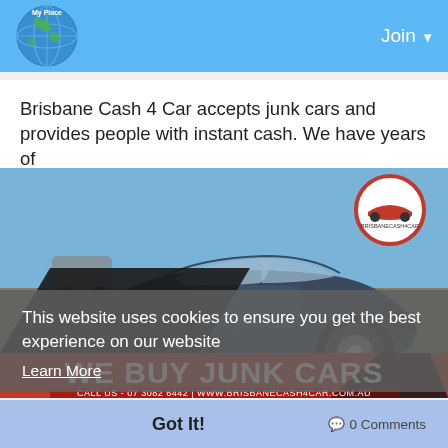Join
Brisbane Cash 4 Car accepts junk cars and provides people with instant cash. We have years of
Read more
[Figure (photo): Advertisement image for Brisbane Cash 4 Car showing a damaged dark blue hatchback car in a lot, with 'WE BUY JUNK CARS' text and logo overlay, and contact info: CALL US - 07 3082 6442 | WWW.BRISBANECASH4CAR.COM.AU]
This website uses cookies to ensure you get the best experience on our website
Learn More
Got It!
0 Comments